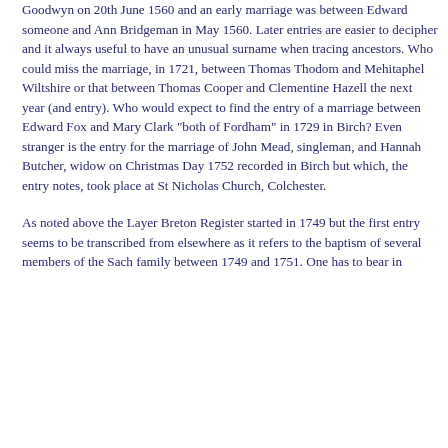Goodwyn on 20th June 1560 and an early marriage was between Edward someone and Ann Bridgeman in May 1560. Later entries are easier to decipher and it always useful to have an unusual surname when tracing ancestors. Who could miss the marriage, in 1721, between Thomas Thodom and Mehitaphel Wiltshire or that between Thomas Cooper and Clementine Hazell the next year (and entry). Who would expect to find the entry of a marriage between Edward Fox and Mary Clark "both of Fordham" in 1729 in Birch? Even stranger is the entry for the marriage of John Mead, singleman, and Hannah Butcher, widow on Christmas Day 1752 recorded in Birch but which, the entry notes, took place at St Nicholas Church, Colchester.
As noted above the Layer Breton Register started in 1749 but the first entry seems to be transcribed from elsewhere as it refers to the baptism of several members of the Sach family between 1749 and 1751. One has to bear in